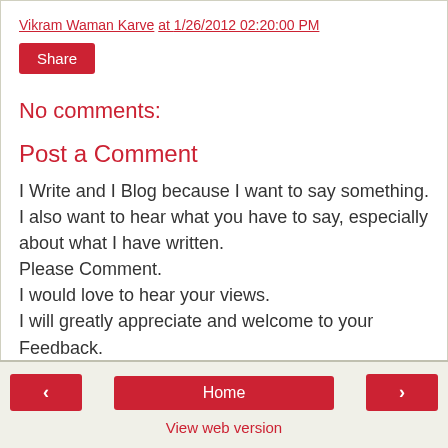Vikram Waman Karve at 1/26/2012 02:20:00 PM
Share
No comments:
Post a Comment
I Write and I Blog because I want to say something.
I also want to hear what you have to say, especially about what I have written.
Please Comment.
I would love to hear your views.
I will greatly appreciate and welcome to your Feedback.
< Home > View web version